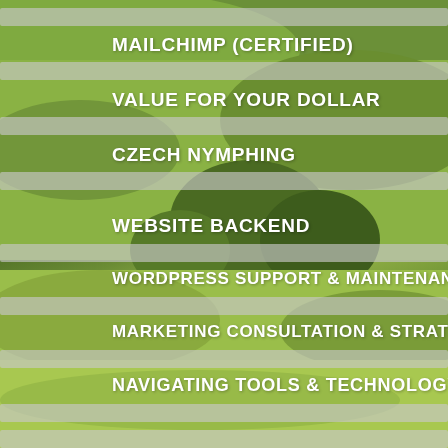MAILCHIMP (CERTIFIED)
VALUE FOR YOUR DOLLAR
CZECH NYMPHING
WEBSITE BACKEND
WORDPRESS SUPPORT & MAINTENANCE
MARKETING CONSULTATION & STRATEGY
NAVIGATING TOOLS & TECHNOLOGY